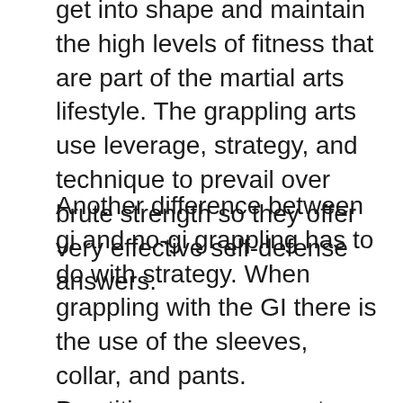get into shape and maintain the high levels of fitness that are part of the martial arts lifestyle. The grappling arts use leverage, strategy, and technique to prevail over brute strength so they offer very effective self-defense answers.
Another difference between gi and no-gi grappling has to do with strategy. When grappling with the GI there is the use of the sleeves, collar, and pants. Practitioners can execute collar chokes, or use the sleeves of the GI to tie up a partner's arm. In no-gi grappling, on the other hand, grabbing the clothes is generally not allowed. Instead, practitioners can try to control an opponent by gripping the body's natural handles: the neck, the wrist, the elbow, the knee, the